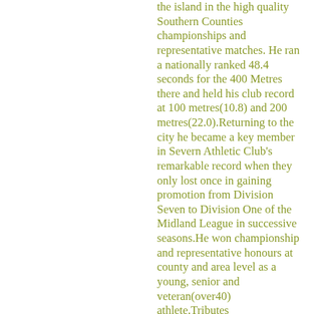the island in the high quality Southern Counties championships and representative matches. He ran a nationally ranked 48.4 seconds for the 400 Metres there and held his club record at 100 metres(10.8) and 200 metres(22.0).Returning to the city he became a key member in Severn Athletic Club's remarkable record when they only lost once in gaining promotion from Division Seven to Division One of the Midland League in successive seasons.He won championship and representative honours at county and area level as a young, senior and veteran(over40) athlete.Tributes